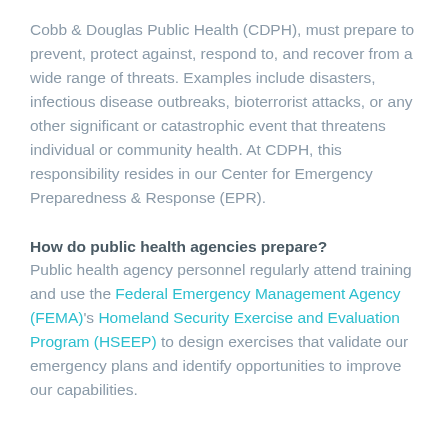Cobb & Douglas Public Health (CDPH), must prepare to prevent, protect against, respond to, and recover from a wide range of threats. Examples include disasters, infectious disease outbreaks, bioterrorist attacks, or any other significant or catastrophic event that threatens individual or community health. At CDPH, this responsibility resides in our Center for Emergency Preparedness & Response (EPR).
How do public health agencies prepare?
Public health agency personnel regularly attend training and use the Federal Emergency Management Agency (FEMA)'s Homeland Security Exercise and Evaluation Program (HSEEP) to design exercises that validate our emergency plans and identify opportunities to improve our capabilities.